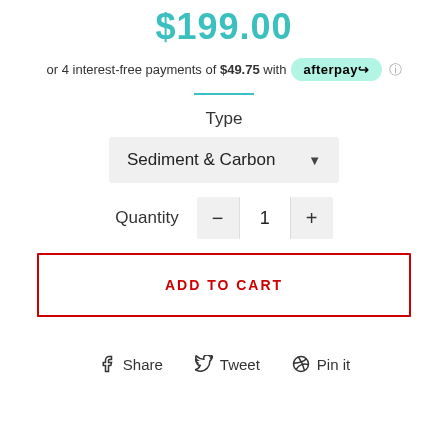$199.00
or 4 interest-free payments of $49.75 with afterpay
Type
Sediment & Carbon
Quantity 1
ADD TO CART
Share  Tweet  Pin it